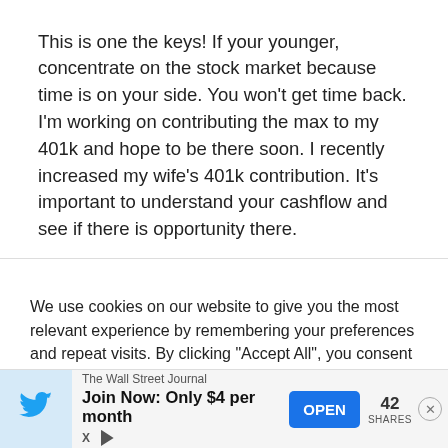This is one the keys! If your younger, concentrate on the stock market because time is on your side. You won't get time back. I'm working on contributing the max to my 401k and hope to be there soon. I recently increased my wife's 401k contribution. It's important to understand your cashflow and see if there is opportunity there.
We use cookies on our website to give you the most relevant experience by remembering your preferences and repeat visits. By clicking "Accept All", you consent to the use of ALL the cookies. However, you may visit "Cookie Settings" to provide a controlled consent.
The Wall Street Journal Join Now: Only $4 per month  OPEN  42 SHARES